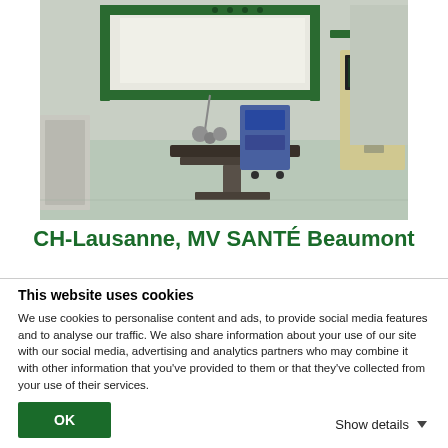[Figure (photo): Interior of a hospital operating room showing surgical table, overhead lighting panel with green frame, medical equipment, and monitors on the right side.]
CH-Lausanne, MV SANTÉ Beaumont
This website uses cookies
We use cookies to personalise content and ads, to provide social media features and to analyse our traffic. We also share information about your use of our site with our social media, advertising and analytics partners who may combine it with other information that you've provided to them or that they've collected from your use of their services.
OK
Show details